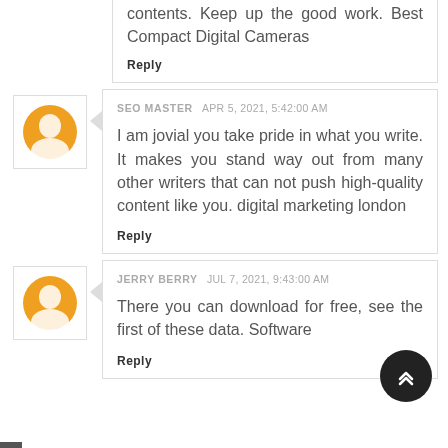contents. Keep up the good work. Best Compact Digital Cameras
Reply
SEO MASTER  APR 5, 2021, 5:42:00 AM
I am jovial you take pride in what you write. It makes you stand way out from many other writers that can not push high-quality content like you. digital marketing london
Reply
JERRY BERRY  JUL 7, 2021, 9:43:00 AM
There you can download for free, see the first of these data. Software
Reply